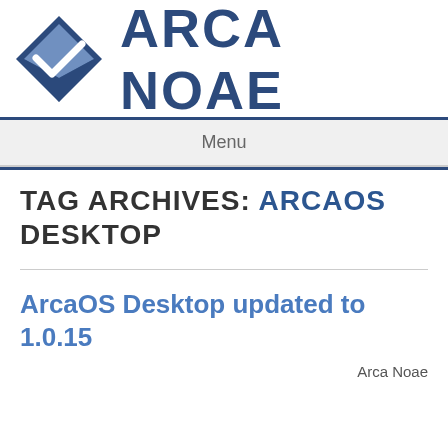[Figure (logo): Arca Noae logo: diamond-shaped blue icon with a checkmark, followed by text 'ARCA NOAE' in dark blue bold letters]
Menu
TAG ARCHIVES: ARCAOS DESKTOP
ArcaOS Desktop updated to 1.0.15
Arca Noae